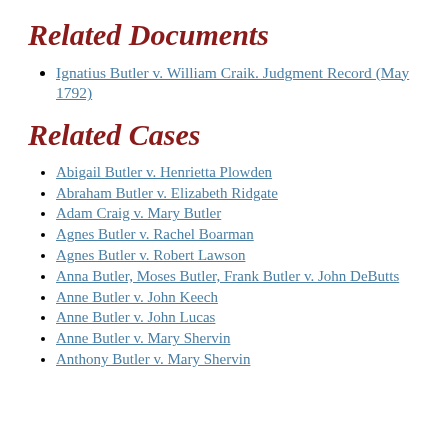Related Documents
Ignatius Butler v. William Craik. Judgment Record (May 1792)
Related Cases
Abigail Butler v. Henrietta Plowden
Abraham Butler v. Elizabeth Ridgate
Adam Craig v. Mary Butler
Agnes Butler v. Rachel Boarman
Agnes Butler v. Robert Lawson
Anna Butler, Moses Butler, Frank Butler v. John DeButts
Anne Butler v. John Keech
Anne Butler v. John Lucas
Anne Butler v. Mary Shervin
Anthony Butler v. Mary Shervin